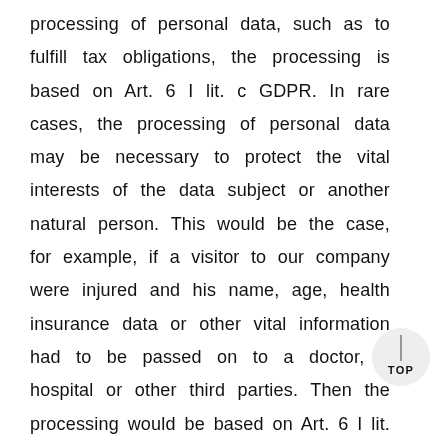processing of personal data, such as to fulfill tax obligations, the processing is based on Art. 6 I lit. c GDPR. In rare cases, the processing of personal data may be necessary to protect the vital interests of the data subject or another natural person. This would be the case, for example, if a visitor to our company were injured and his name, age, health insurance data or other vital information had to be passed on to a doctor, a hospital or other third parties. Then the processing would be based on Art. 6 I lit. d GDPR are based.

Ultimately, processing operations could